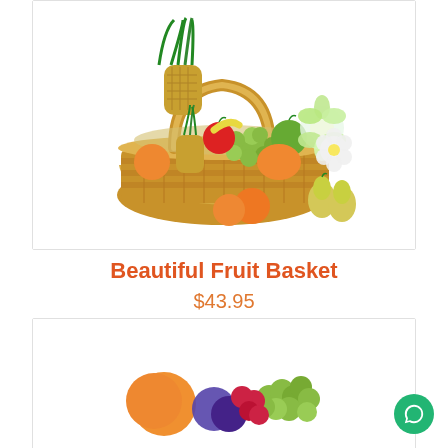[Figure (photo): A wicker fruit basket filled with pineapple, grapes, oranges, apples, mangoes, pears, and decorated with green flowers/ribbon. Some fruits like tangerine and pears are placed in front of the basket.]
Beautiful Fruit Basket
$43.95
[Figure (photo): Bottom portion of a second product card showing fruits including oranges/tangerines, grapes (green and red), and other fruits partially visible.]